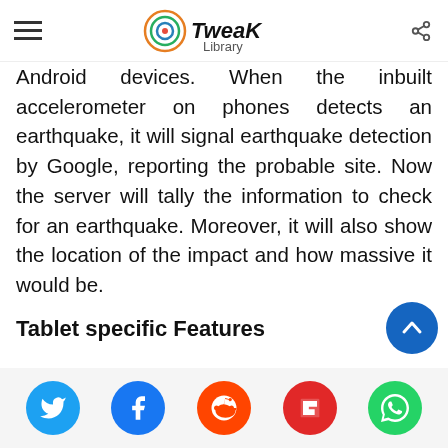Tweak Library
Android devices. When the inbuilt accelerometer on phones detects an earthquake, it will signal earthquake detection by Google, reporting the probable site. Now the server will tally the information to check for an earthquake. Moreover, it will also show the location of the impact and how massive it would be.
Tablet specific Features
With Android 12L last year, Google signaled its to incorporate specific tablet capabilities. Still, it now